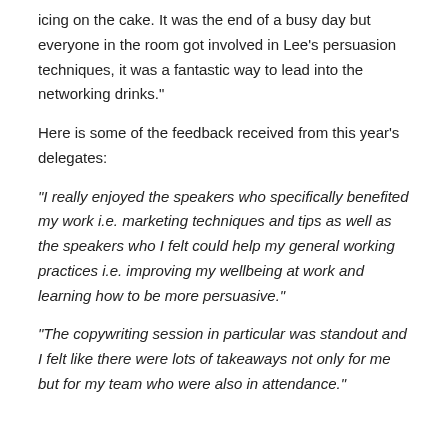Chris continued: "Lee Warren's closing keynote was the icing on the cake. It was the end of a busy day but everyone in the room got involved in Lee's persuasion techniques, it was a fantastic way to lead into the networking drinks."
Here is some of the feedback received from this year's delegates:
"I really enjoyed the speakers who specifically benefited my work i.e. marketing techniques and tips as well as the speakers who I felt could help my general working practices i.e. improving my wellbeing at work and learning how to be more persuasive."
"The copywriting session in particular was standout and I felt like there were lots of takeaways not only for me but for my team who were also in attendance."